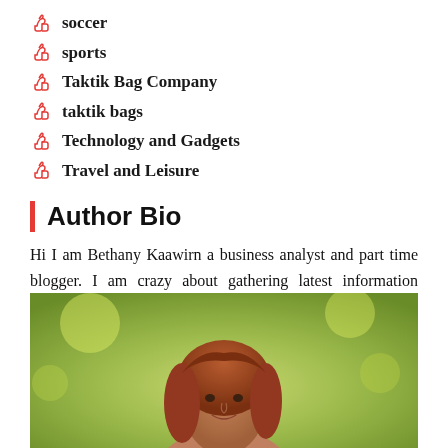soccer
sports
Taktik Bag Company
taktik bags
Technology and Gadgets
Travel and Leisure
Author Bio
Hi I am Bethany Kaawirn a business analyst and part time blogger. I am crazy about gathering latest information around the world. I have started this blog to share my knowledge & experience.
[Figure (photo): Photo of author Bethany Kaawirn, a woman with reddish-brown hair outdoors with green blurred background]